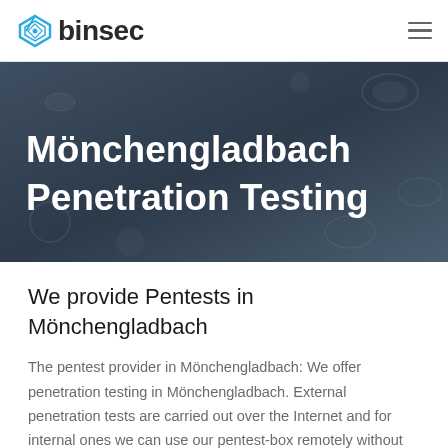binsec
Mönchengladbach Penetration Testing
We provide Pentests in Mönchengladbach
The pentest provider in Mönchengladbach: We offer penetration testing in Mönchengladbach. External penetration tests are carried out over the Internet and for internal ones we can use our pentest-box remotely without someone having to be on site in Berlin. Video calls also allow us to speak face-to-face with our clients in Mönchengladbach without incurring